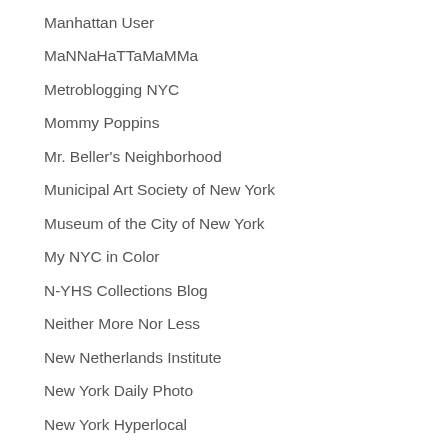Lower East Side History Project Blog
Manhattan User
MaNNaHaTTaMaMMa
Metroblogging NYC
Mommy Poppins
Mr. Beller's Neighborhood
Municipal Art Society of New York
Museum of the City of New York
My NYC in Color
N-YHS Collections Blog
Neither More Nor Less
New Netherlands Institute
New York Daily Photo
New York Hyperlocal
New York Lives